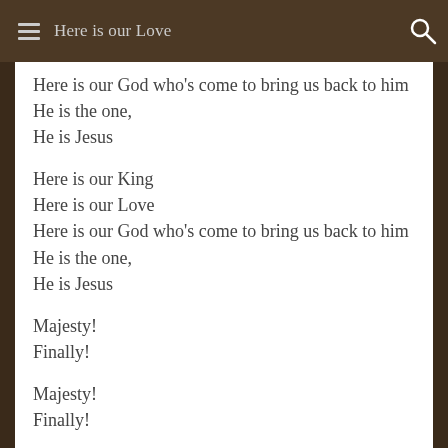Here is our Love
Here is our God who's come to bring us back to him
He is the one,
He is Jesus

Here is our King
Here is our Love
Here is our God who's come to bring us back to him
He is the one,
He is Jesus

Majesty!
Finally!

Majesty!
Finally!